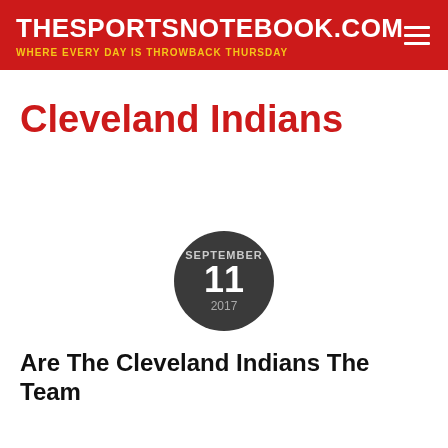THESPORTSNOTEBOOK.COM
WHERE EVERY DAY IS THROWBACK THURSDAY
Cleveland Indians
[Figure (other): Dark circular date badge showing SEPTEMBER 11 2017]
Are The Cleveland Indians The Team